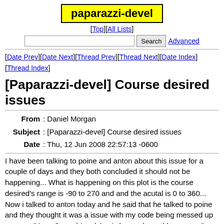paparazzi-devel
[Top][All Lists]
Search  Advanced
[Date Prev][Date Next][Thread Prev][Thread Next][Date Index][Thread Index]
[Paparazzi-devel] Course desired issues
From: Daniel Morgan
Subject: [Paparazzi-devel] Course desired issues
Date: Thu, 12 Jun 2008 22:57:13 -0600
I have been talking to poine and anton about this issue for a couple of days and they both concluded it should not be happening... What is happening on this plot is the course desired's range is -90 to 270 and and the acutal is 0 to 360... Now i talked to anton today and he said that he talked to poine and they thought it was a issue with my code being messed up or something.. So on his advice i changed my old paparazzi's folder name and did a completely new cvs... When i did this it did not aleviate the issues. So i thought maybe it was something with my pc or my config, because of this i decided